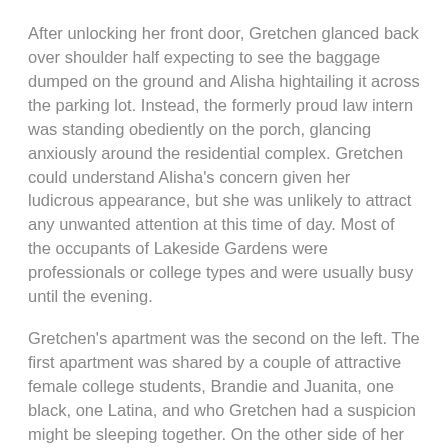After unlocking her front door, Gretchen glanced back over shoulder half expecting to see the baggage dumped on the ground and Alisha hightailing it across the parking lot. Instead, the formerly proud law intern was standing obediently on the porch, glancing anxiously around the residential complex. Gretchen could understand Alisha's concern given her ludicrous appearance, but she was unlikely to attract any unwanted attention at this time of day. Most of the occupants of Lakeside Gardens were professionals or college types and were usually busy until the evening.
Gretchen's apartment was the second on the left. The first apartment was shared by a couple of attractive female college students, Brandie and Juanita, one black, one Latina, and who Gretchen had a suspicion might be sleeping together. On the other side of her was a diminutive old Jewish college professor named Oren Kline who was polite but somewhat reclusive. All three of them would likely be at classes over on the campus right now, which meant Gretchen could acclimatize Alisha to her new surroundings undisturbed.